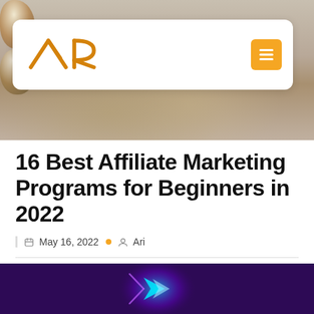[Figure (photo): Hero background image showing shiny chrome/metallic objects on a light beige surface, partially obscured by a white navigation bar overlay]
[Figure (logo): AR logo in gold/amber color — two mountain-peak shapes forming stylized letters A and R]
16 Best Affiliate Marketing Programs for Beginners in 2022
May 16, 2022  •  Ari
[Figure (photo): Bottom image strip showing a dark purple/violet background with a glowing cyan/blue geometric arrow or play-button shape in the center]